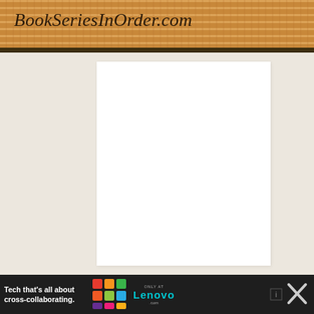BookSeriesInOrder.com
[Figure (screenshot): White content panel on beige/cream background, main website content area (blank/loading)]
[Figure (infographic): Advertisement bar at bottom: 'Tech that's all about cross-collaborating.' with colorful tile icon grid, Lenovo.com branding, close buttons]